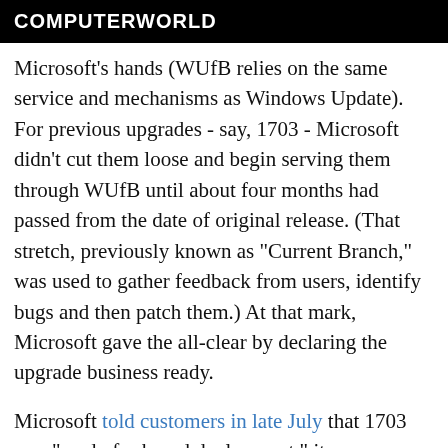COMPUTERWORLD
Microsoft's hands (WUfB relies on the same service and mechanisms as Windows Update). For previous upgrades - say, 1703 - Microsoft didn't cut them loose and begin serving them through WUfB until about four months had passed from the date of original release. (That stretch, previously known as "Current Branch," was used to gather feedback from users, identify bugs and then patch them.) At that mark, Microsoft gave the all-clear by declaring the upgrade business ready.
Microsoft told customers in late July that 1703 was "ready for broad deployment," its new phraseology for what had been a promotion to the "Current Branch for Business" release track.